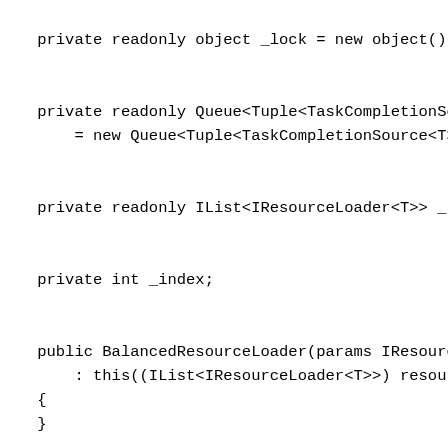private readonly object _lock = new object();


private readonly Queue<Tuple<TaskCompletionSource<T>,
    = new Queue<Tuple<TaskCompletionSource<T>, Cancel


private readonly IList<IResourceLoader<T>> _resourceL


private int _index;


public BalancedResourceLoader(params IResourceLoader<
    : this((IList<IResourceLoader<T>>) resourceLoader
{
}


public BalancedResourceLoader(IList<IResourceLoader<T